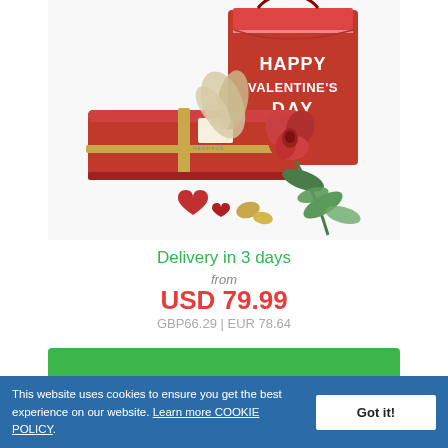[Figure (photo): A Valentine's Day gift set featuring a red chocolate box tied with a gold ribbon, a 'Happy Valentine's Day' red gift bag, a red rose, and heart-shaped chocolates on a white background.]
Delivery in 3 days
from
USD 79.99
GBP66.29 | EUR 78.64
This website uses cookies to ensure you get the best experience on our website. Learn more COOKIE POLICY.